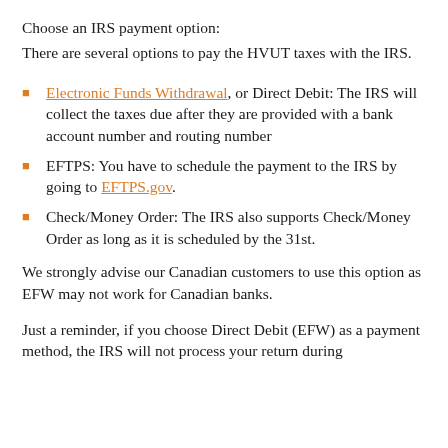Choose an IRS payment option:
There are several options to pay the HVUT taxes with the IRS.
Electronic Funds Withdrawal, or Direct Debit: The IRS will collect the taxes due after they are provided with a bank account number and routing number
EFTPS: You have to schedule the payment to the IRS by going to EFTPS.gov.
Check/Money Order: The IRS also supports Check/Money Order as long as it is scheduled by the 31st.
We strongly advise our Canadian customers to use this option as EFW may not work for Canadian banks.
Just a reminder, if you choose Direct Debit (EFW) as a payment method, the IRS will not process your return during